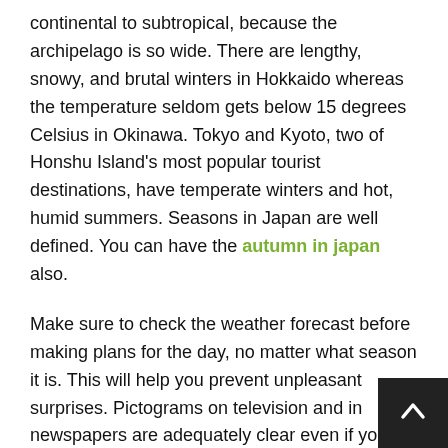continental to subtropical, because the archipelago is so wide. There are lengthy, snowy, and brutal winters in Hokkaido whereas the temperature seldom gets below 15 degrees Celsius in Okinawa. Tokyo and Kyoto, two of Honshu Island's most popular tourist destinations, have temperate winters and hot, humid summers. Seasons in Japan are well defined. You can have the autumn in japan also.
Make sure to check the weather forecast before making plans for the day, no matter what season it is. This will help you prevent unpleasant surprises. Pictograms on television and in newspapers are adequately clear even if you don't know Japanese. Kanpai, of course, provides a weather service in Japan, providing ten-day predictions in numerous Japanese cities.
When Is The Best Time To Visit Japan?
It's tough to pinpoint the best time of year to visit Japan.